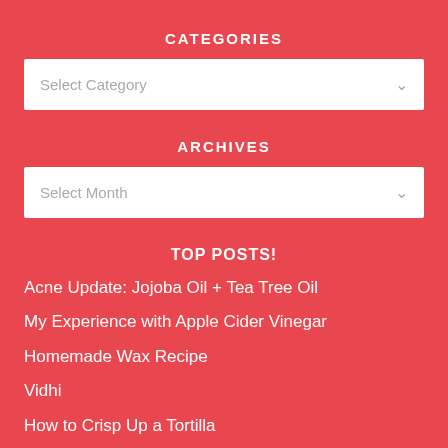CATEGORIES
[Figure (other): Select Category dropdown box]
ARCHIVES
[Figure (other): Select Month dropdown box]
TOP POSTS!
Acne Update: Jojoba Oil + Tea Tree Oil
My Experience with Apple Cider Vinegar
Homemade Wax Recipe
Vidhi
How to Crisp Up a Tortilla
The 3 Things I Am Not
9 Common Sense Tips for How to Stay Healthy with an 8-5